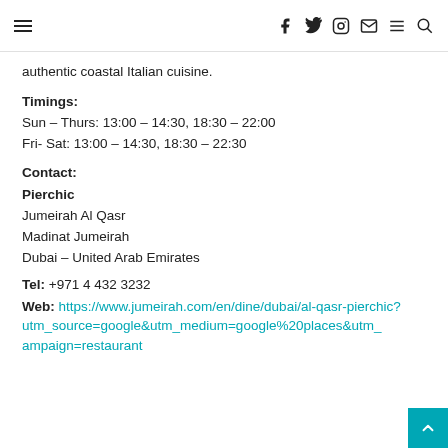Navigation bar with hamburger menu and social icons (Facebook, Twitter, Instagram, Mail, Menu, Search)
authentic coastal Italian cuisine.
Timings:
Sun – Thurs: 13:00 – 14:30, 18:30 – 22:00
Fri- Sat: 13:00 – 14:30, 18:30 – 22:30
Contact:
Pierchic
Jumeirah Al Qasr
Madinat Jumeirah
Dubai – United Arab Emirates
Tel: +971 4 432 3232
Web: https://www.jumeirah.com/en/dine/dubai/al-qasr-pierchic?utm_source=google&utm_medium=google%20places&utm_campaign=restaurant